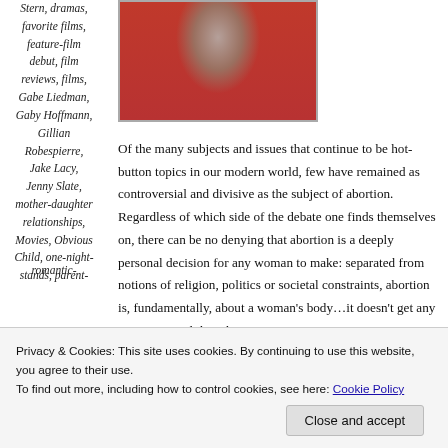Stern, dramas, favorite films, feature-film debut, film reviews, films, Gabe Liedman, Gaby Hoffmann, Gillian Robespierre, Jake Lacy, Jenny Slate, mother-daughter relationships, Movies, Obvious Child, one-night-stands, parent- romantic-
[Figure (photo): Photo of a woman against a red/pink background, cropped at top]
Of the many subjects and issues that continue to be hot-button topics in our modern world, few have remained as controversial and divisive as the subject of abortion. Regardless of which side of the debate one finds themselves on, there can be no denying that abortion is a deeply personal decision for any woman to make: separated from notions of religion, politics or societal constraints, abortion is, fundamentally, about a woman’s body…it doesn’t get any more personal than that.
Privacy & Cookies: This site uses cookies. By continuing to use this website, you agree to their use.
To find out more, including how to control cookies, see here: Cookie Policy
Close and accept